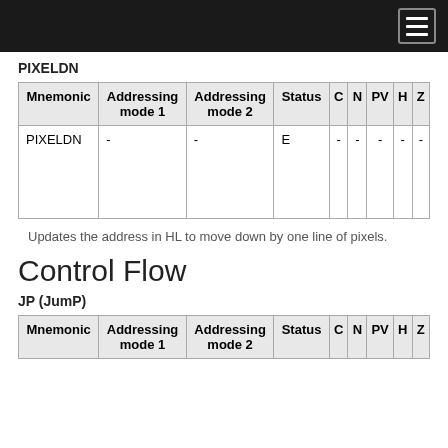PIXELDN
| Mnemonic | Addressing mode 1 | Addressing mode 2 | Status | C | N | PV | H | Z |
| --- | --- | --- | --- | --- | --- | --- | --- | --- |
| PIXELDN | - | - | E | - | - | - | - | - |
Updates the address in HL to move down by one line of pixels.
Control Flow
JP (JumP)
| Mnemonic | Addressing mode 1 | Addressing mode 2 | Status | C | N | PV | H | Z |
| --- | --- | --- | --- | --- | --- | --- | --- | --- |